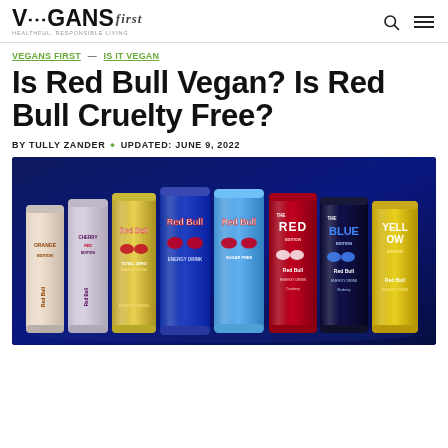VEGANS first — healthful, responsible living (logo with search and menu icons)
VEGANS FIRST — IS IT VEGAN
Is Red Bull Vegan? Is Red Bull Cruelty Free?
BY TULLY ZANDER • UPDATED: JUNE 9, 2022
[Figure (photo): Multiple Red Bull energy drink cans in various editions (Orange, Cherry, original blue/silver, Red Edition, Blue Edition, Yellow Edition) arranged in a row against a dark blue background.]